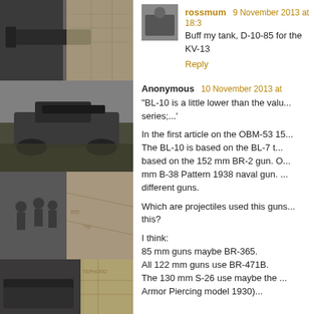[Figure (photo): Collage of four black and white military tank photographs with map backgrounds]
rossmum  9 November 2013 at 18:3
Buff my tank, D-10-85 for the KV-13
Reply
Anonymous  10 November 2013 at
"BL-10 is a little lower than the valu... series;...'
In the first article on the OBM-53 15... The BL-10 is based on the BL-7 t... based on the 152 mm BR-2 gun. O... mm B-38 Pattern 1938 naval gun. ... different guns.
Which are projectiles used this guns... this?
I think:
85 mm guns maybe BR-365.
All 122 mm guns use BR-471B.
The 130 mm S-26 use maybe the ...
Armor Piercing model 1930)...